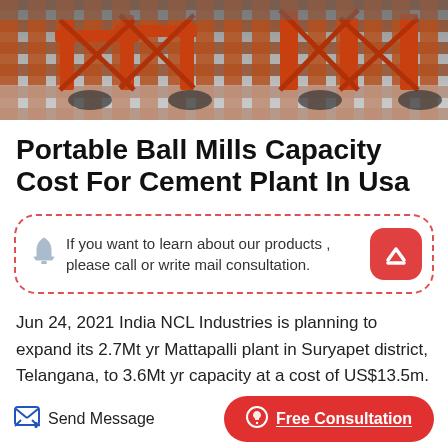[Figure (photo): Industrial machinery with orange metal framework, conveyor or mill equipment in an outdoor/industrial setting]
Portable Ball Mills Capacity Cost For Cement Plant In Usa
If you want to learn about our products , please call or write mail consultation.
Jun 24, 2021 India NCL Industries is planning to expand its 2.7Mt yr Mattapalli plant in Suryapet district, Telangana, to 3.6Mt yr capacity at a cost of US$13.5m. The work includes the installation of vertical roller mills to replace the plant's ball mills.
Send Message   Free Consultation